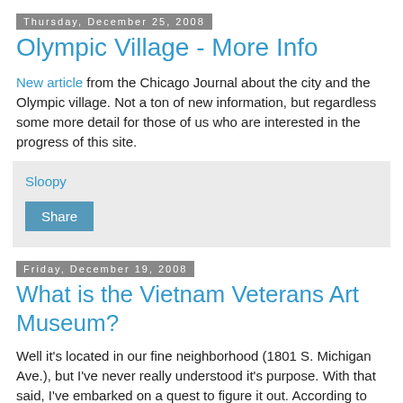Thursday, December 25, 2008
Olympic Village - More Info
New article from the Chicago Journal about the city and the Olympic village. Not a ton of new information, but regardless some more detail for those of us who are interested in the progress of this site.
Sloopy
Share
Friday, December 19, 2008
What is the Vietnam Veterans Art Museum?
Well it's located in our fine neighborhood (1801 S. Michigan Ave.), but I've never really understood it's purpose. With that said, I've embarked on a quest to figure it out. According to their website...